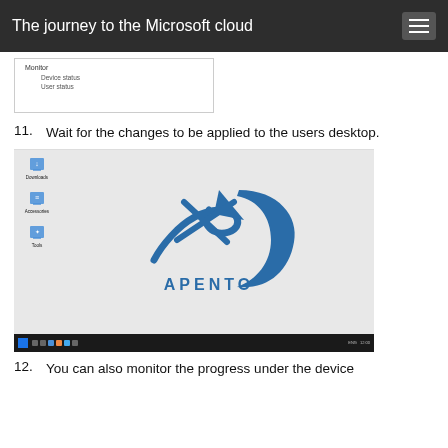The journey to the Microsoft cloud
[Figure (screenshot): Partial screenshot showing a menu with 'Monitor' header, and sub-items 'Device status' and 'User status']
11. Wait for the changes to be applied to the users desktop.
[Figure (screenshot): Screenshot of a Windows desktop showing desktop icons on the left (Downloads, Accessories, Tools), an Apento logo in the center (blue arrow/D shape with text APENTO), and a Windows taskbar at the bottom.]
12. You can also monitor the progress under the device configuration in Microsoft Intune.